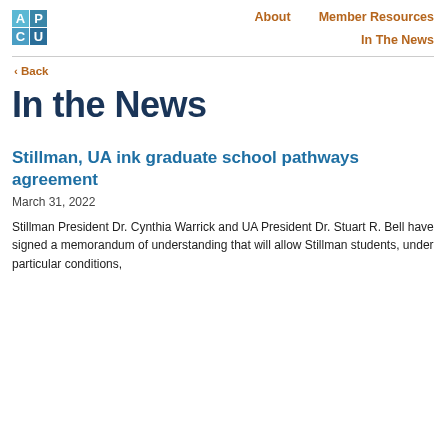[Figure (logo): APCU logo — blue and teal grid squares with letters A, P, C, U]
About    Member Resources
In The News
‹ Back
In the News
Stillman, UA ink graduate school pathways agreement
March 31, 2022
Stillman President Dr. Cynthia Warrick and UA President Dr. Stuart R. Bell have signed a memorandum of understanding that will allow Stillman students, under particular conditions,